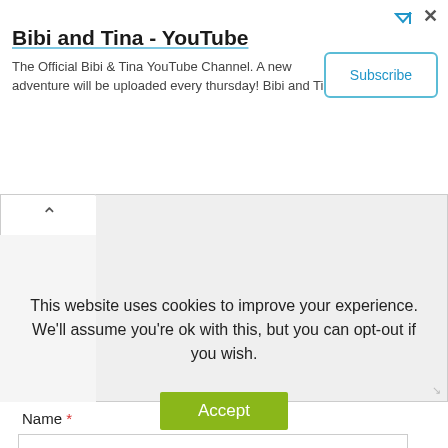[Figure (screenshot): YouTube channel ad banner for Bibi and Tina with Subscribe button]
Bibi and Tina - YouTube
The Official Bibi & Tina YouTube Channel. A new adventure will be uploaded every thursday! Bibi and Tina
[Figure (screenshot): Comment text area with collapse tab showing up-caret]
Name *
Email *
This website uses cookies to improve your experience. We'll assume you're ok with this, but you can opt-out if you wish.